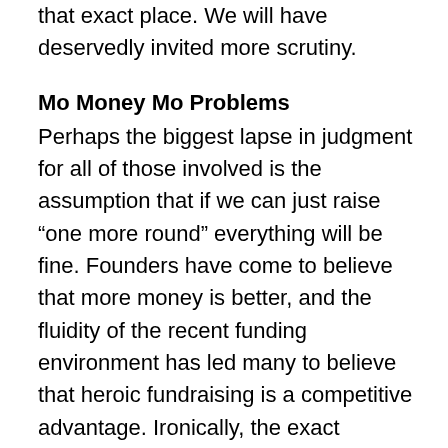that exact place. We will have deservedly invited more scrutiny.
Mo Money Mo Problems
Perhaps the biggest lapse in judgment for all of those involved is the assumption that if we can just raise “one more round” everything will be fine. Founders have come to believe that more money is better, and the fluidity of the recent funding environment has led many to believe that heroic fundraising is a competitive advantage. Ironically, the exact opposite is true. The very best entrepreneurs are relatively advantaged in times of scarce capital. They can raise money in any environment. Loose capital allows the less qualified to participate in each market. This less qualified player brings more reckless execution which drags even the best entrepreneur onto an especially sloppy playing field. This threatens returns for all involved.